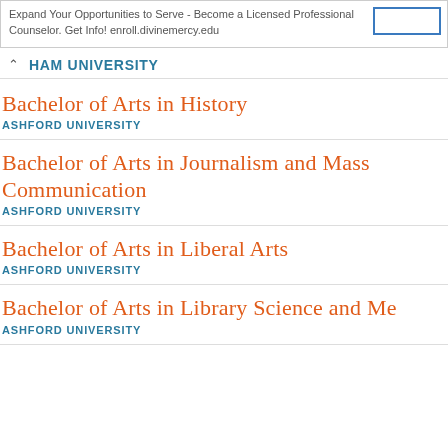Expand Your Opportunities to Serve - Become a Licensed Professional Counselor. Get Info! enroll.divinemercy.edu
HAM UNIVERSITY
Bachelor of Arts in History
ASHFORD UNIVERSITY
Bachelor of Arts in Journalism and Mass Communication
ASHFORD UNIVERSITY
Bachelor of Arts in Liberal Arts
ASHFORD UNIVERSITY
Bachelor of Arts in Library Science and Me
ASHFORD UNIVERSITY